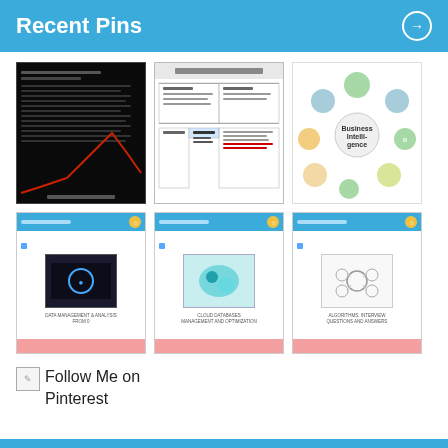Recent Pins →
[Figure (screenshot): Dark terminal/command window with red graph line and data]
[Figure (table-as-image): White table with rows and columns, tabular data]
[Figure (infographic): Business Intelligence bubble/circle diagram with colored nodes]
[Figure (screenshot): Blue-header slide with dark image and pink footer, text about data mining or similar]
[Figure (screenshot): Blue-header slide with teal/green image and pink footer]
[Figure (screenshot): Blue-header slide with diagram image and pink footer, text about questions and answers]
Follow Me on Pinterest
Subscribe to RSS Feeds →
Get all latest content delivered to your email a few times a month.